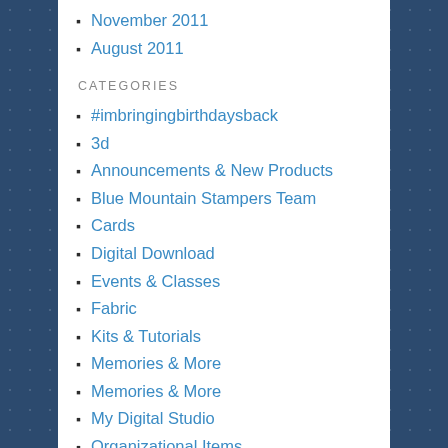November 2011
August 2011
CATEGORIES
#imbringingbirthdaysback
3d
Announcements & New Products
Blue Mountain Stampers Team
Cards
Digital Download
Events & Classes
Fabric
Kits & Tutorials
Memories & More
Memories & More
My Digital Studio
Organizational Items
Paper Pumpkin
Project Life
Recipes
Sale-a-bration